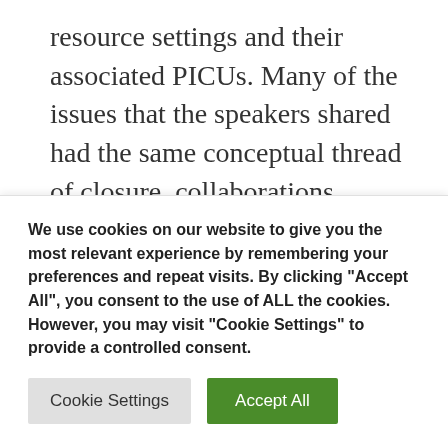resource settings and their associated PICUs. Many of the issues that the speakers shared had the same conceptual thread of closure, collaborations, cancellations, changes with the IRB and accessing subjects and data collection. The absence of an Electronic Health Records (EHRs) posed various challenges within the
We use cookies on our website to give you the most relevant experience by remembering your preferences and repeat visits. By clicking "Accept All", you consent to the use of ALL the cookies. However, you may visit "Cookie Settings" to provide a controlled consent.